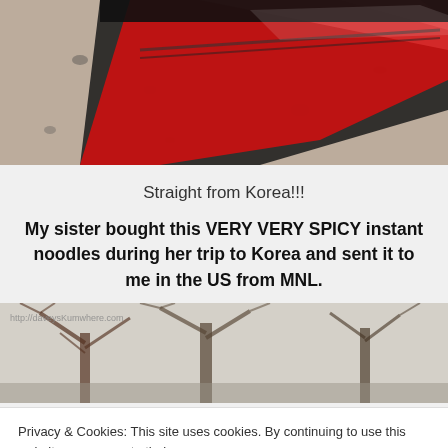[Figure (photo): Close-up photo of a red and black Korean instant noodle package on a granite surface]
Straight from Korea!!!
My sister bought this VERY VERY SPICY instant noodles during her trip to Korea and sent it to me in the US from MNL.
[Figure (photo): Outdoor photo showing bare winter trees against a white sky, with small watermark text reading http://daveysjunctionblog.com]
Privacy & Cookies: This site uses cookies. By continuing to use this website, you agree to their use.
To find out more, including how to control cookies, see here: Cookie Policy
Close and accept
[Figure (photo): Bottom strip of an outdoor photo]